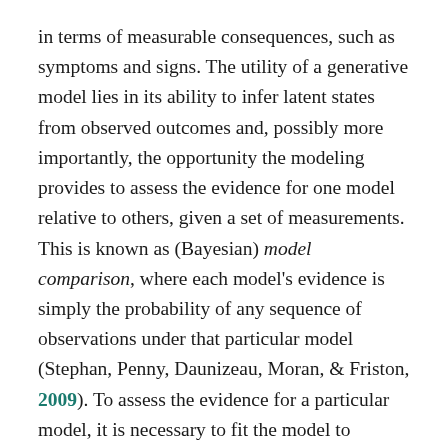in terms of measurable consequences, such as symptoms and signs. The utility of a generative model lies in its ability to infer latent states from observed outcomes and, possibly more importantly, the opportunity the modeling provides to assess the evidence for one model relative to others, given a set of measurements. This is known as (Bayesian) model comparison, where each model's evidence is simply the probability of any sequence of observations under that particular model (Stephan, Penny, Daunizeau, Moran, & Friston, 2009). To assess the evidence for a particular model, it is necessary to fit the model to observed data—a procedure known as model inversion. This is because the mapping from causes to consequences is inverted, so as to map from